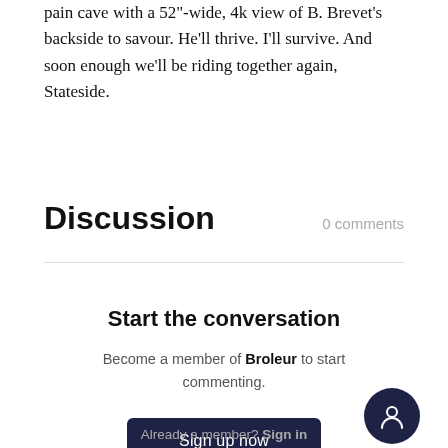pain cave with a 52"-wide, 4k view of B. Brevet's backside to savour. He'll thrive. I'll survive. And soon enough we'll be riding together again, Stateside.
Discussion
0 comments
Start the conversation
Become a member of Broleur to start commenting.
Sign up now
Already a member? Sign in